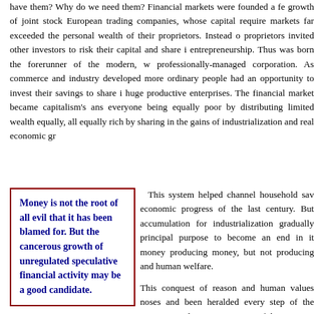have them? Why do we need them? Financial markets were founded a fe growth of joint stock European trading companies, whose capital require markets far exceeded the personal wealth of their proprietors. Instead o proprietors invited other investors to risk their capital and share i entrepreneurship. Thus was born the forerunner of the modern, w professionally-managed corporation. As commerce and industry developed more ordinary people had an opportunity to invest their savings to share i huge productive enterprises. The financial market became capitalism's ans everyone being equally poor by distributing limited wealth equally, all equally rich by sharing in the gains of industrialization and real economic gr
Money is not the root of all evil that it has been blamed for. But the cancerous growth of unregulated speculative financial activity may be a good candidate.
This system helped channel household sav economic progress of the last century. But accumulation for industrialization gradually principal purpose to become an end in it money producing money, but not producing and human welfare.
This conquest of reason and human values noses and been heralded every step of the progress. Today, ninety percent of the transa